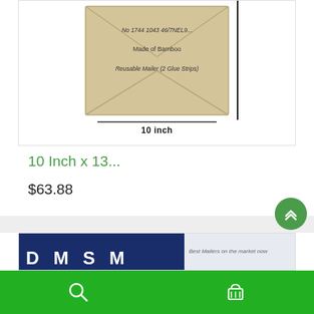[Figure (photo): Bamboo envelope/mailer product image with text 'Made of Bamboo' and 'Reusable Mailer (2 Glue Strips)' visible, with a ruler showing 10 inch measurement below]
10 inch
10 Inch x 13...
$63.88
[Figure (screenshot): Bottom product card showing a dark blue background with white text/logo, partially visible]
[Figure (other): Green navigation bar at bottom with search icon and basket/cart icon]